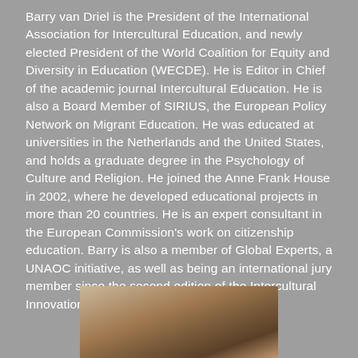Barry van Driel is the President of the International Association for Intercultural Education, and newly elected President of the World Coalition for Equity and Diversity in Education (WECDE). He is Editor in Chief of the academic journal Intercultural Education. He is also a Board Member of SIRIUS, the European Policy Network on Migrant Education. He was educated at universities in the Netherlands and the United States, and holds a graduate degree in the Psychology of Culture and Religion. He joined the Anne Frank House in 2002, where he developed educational projects in more than 20 countries. He is an expert consultant in the European Commission's work on citizenship education. Barry is also a member of Global Experts, a UNAOC initiative, as well as being an international jury member since the second edition of the Intercultural Innovation Award.
[Figure (photo): Partial photo of a person visible at the bottom of the page, cropped, showing top of head and hair.]